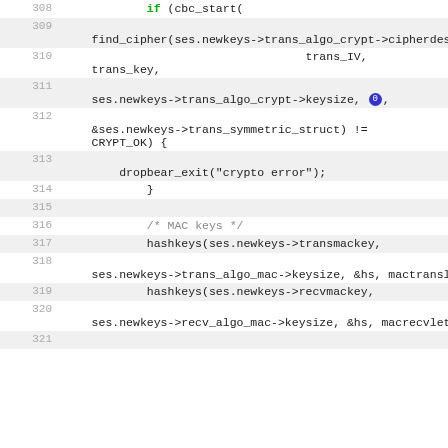[Figure (screenshot): Source code viewer showing lines 308-321 of a C program, featuring SSH/crypto related code with cbc_start, find_cipher, hashkeys function calls and related variable references. Alternating shaded and white line backgrounds with line numbers on the left.]